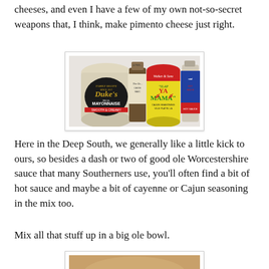cheeses, and even I have a few of my own not-so-secret weapons that, I think, make pimento cheese just right.
[Figure (photo): Photo of Duke's Mayonnaise jar, Worcestershire sauce bottle, Slap Ya Mama Cajun seasoning can, and Crystal hot sauce bottle on a white countertop.]
Here in the Deep South, we generally like a little kick to ours, so besides a dash or two of good ole Worcestershire sauce that many Southerners use, you'll often find a bit of hot sauce and maybe a bit of cayenne or Cajun seasoning in the mix too.
Mix all that stuff up in a big ole bowl.
[Figure (photo): Partial bottom photo showing a mixing bowl with pimento cheese ingredients.]